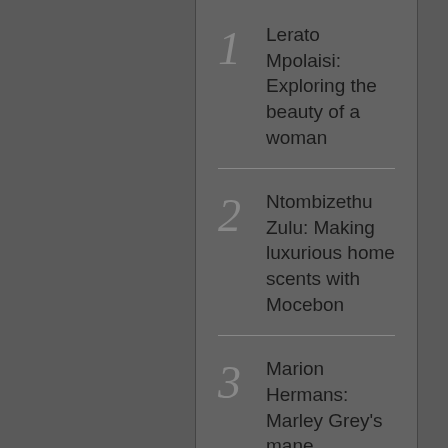1 Lerato Mpolaisi: Exploring the beauty of a woman
2 Ntombizethu Zulu: Making luxurious home scents with Mocebon
3 Marion Hermans: Marley Grey's mane attraction
4 Randy Lamfel: Introducing SA's Doctor Motivation